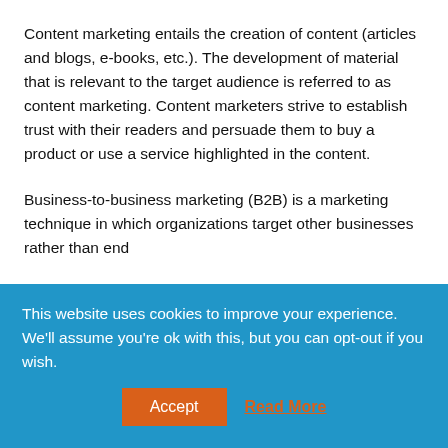Content marketing entails the creation of content (articles and blogs, e-books, etc.). The development of material that is relevant to the target audience is referred to as content marketing. Content marketers strive to establish trust with their readers and persuade them to buy a product or use a service highlighted in the content.
Business-to-business marketing (B2B) is a marketing technique in which organizations target other businesses rather than end
This website uses cookies to improve your experience. We'll assume you're ok with this, but you can opt-out if you wish.
Accept
Read More